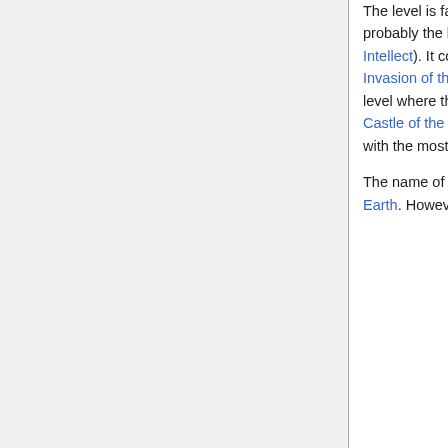The level is fairly linear, with Keen having to move to the right until the exit is reached. It is probably the hardest level in the game (with the possible exception of the Castle of the Grand Intellect). It contains 21 VortiNinjas, the hardest enemy in the game, and maybe in the whole Invasion of the Vorticons trilogy, not counting the unique Vorticon Commander. It is the only level where the player is in danger right after entering the level (apart from the boss level, the Castle of the Grand Intellect), and in this case, due to a nearby VortiNinja. It is also the level with the most Ankhs (three).
The name of the level is a play on Cape Canaveral, where the main NASA bases are on Earth. However, there are no space-related activities to be seen in this level.